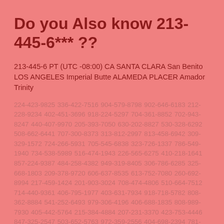Do you Also know 213-445-6*** ??
213-445-6 PT (UTC -08:00) CA SANTA CLARA San Benito LOS ANGELES Imperial Butte ALAMEDA PLACER Amador Trinity
224-423-9825 336-422-7516 904-579-8798 902-646-6183 212-228-9234 402-451-3696 918-224-5297 704-361-8852 702-943-8247 440-407-9970 205-393-7050 630-202-8827 530-328-6292 508-662-6441 707-300-8373 313-812-2997 813-458-6942 309-329-1572 724-266-5931 705-545-6838 323-726-1337 786-549-1940 734-538-5989 516-474-1943 226-565-6275 410-218-1641 857-224-9387 484-258-4382 949-319-8405 306-786-6285 325-668-1803 209-378-9720 606-637-8535 613-752-7080 260-692-8994 217-459-1424 201-903-3024 708-474-4806 510-664-7512 714-440-9361 406-795-1977 403-631-7934 918-718-5782 808-362-8884 541-252-6493 979-306-4196 406-688-1835 808-989-7930 405-442-5764 215-384-4884 207-231-3370 423-753-4446 847-325-2547 503-652-5763 972-359-2556 404-698-2394 781-255-5259 954-532-6752 503-367-4538 519-551-4736 204-543-7002 714-780-5842 612-594-9438 706-764-7821 740-309-4259 530-495-8789 972-666-9366 601-958-8401 956-650-5953 563-581-7556 514-436-4629 540-208-2001